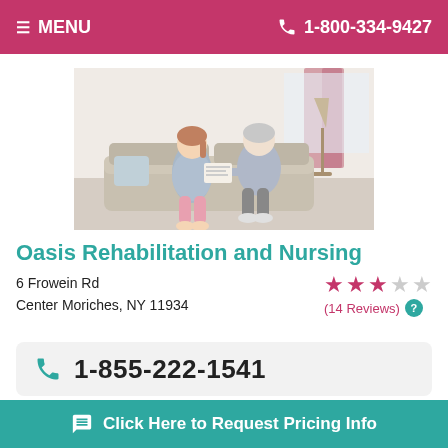≡ MENU   📞 1-800-334-9427
[Figure (photo): Caregiver sitting on a couch next to an elderly woman, appearing to assist or converse with her in a home setting with a lamp and curtains in the background.]
Oasis Rehabilitation and Nursing
6 Frowein Rd
Center Moriches, NY 11934
★★★☆☆ (14 Reviews)
📞 1-855-222-1541
Located at 6 Frowein Rd in Center Moriches, New York, O... fa... n
💬 Click Here to Request Pricing Info